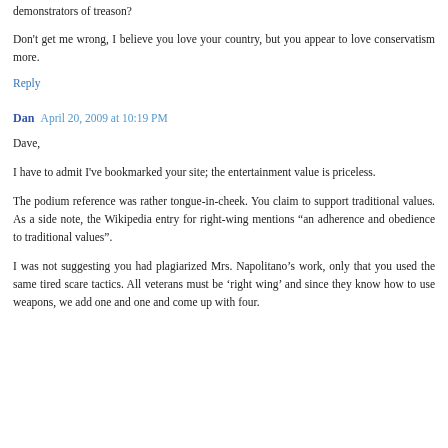demonstrators of treason?
Don't get me wrong, I believe you love your country, but you appear to love conservatism more.
Reply
Dan  April 20, 2009 at 10:19 PM
Dave,
I have to admit I've bookmarked your site; the entertainment value is priceless.
The podium reference was rather tongue-in-cheek. You claim to support traditional values. As a side note, the Wikipedia entry for right-wing mentions “an adherence and obedience to traditional values”.
I was not suggesting you had plagiarized Mrs. Napolitano’s work, only that you used the same tired scare tactics. All veterans must be ‘right wing’ and since they know how to use weapons, we add one and one and come up with four.